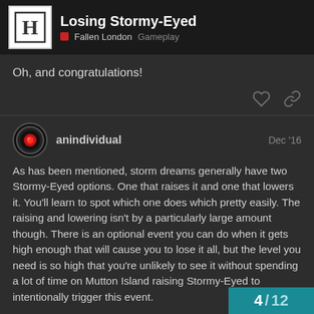Losing Stormy-Eyed | Fallen London Gameplay
Oh, and congratulations!
anindividual Dec '16
As has been mentioned, storm dreams generally have two Stormy-Eyed options. One that raises it and one that lowers it. You'll learn to spot which one does which pretty easily. The raising and lowering isn't by a particularly large amount though. There is an optional event you can do when it gets high enough that will cause you to lose it all, but the level you need is so high that you're unlikely to see it without spending a lot of time on Mutton Island raising Stormy-Eyed to intentionally trigger this event.
So basically, as long as you balance your i
4 / 12